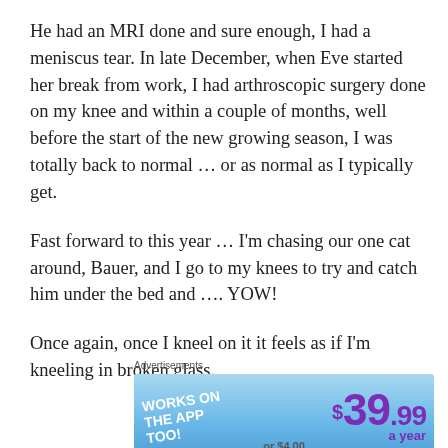He had an MRI done and sure enough, I had a meniscus tear. In late December, when Eve started her break from work, I had arthroscopic surgery done on my knee and within a couple of months, well before the start of the new growing season, I was totally back to normal … or as normal as I typically get.
Fast forward to this year … I'm chasing our one cat around, Bauer, and I go to my knees to try and catch him under the bed and …. YOW!
Once again, once I kneel on it it feels as if I'm kneeling in broken glass.
Advertisements
[Figure (other): Advertisement banner showing 'WORKS ON THE APP TOO!' on the left and '$39.99 a year' pricing in purple on a blue sky background]